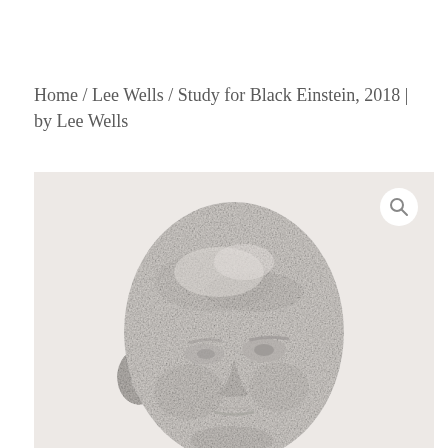Home / Lee Wells / Study for Black Einstein, 2018 | by Lee Wells
[Figure (photo): A grayscale photographic or drawn image of a sculptural face study — a bald human head with aged facial features rendered in pale gray tones against a light background, showing a three-quarter view. A magnifying glass search icon appears in the upper right corner of the image.]